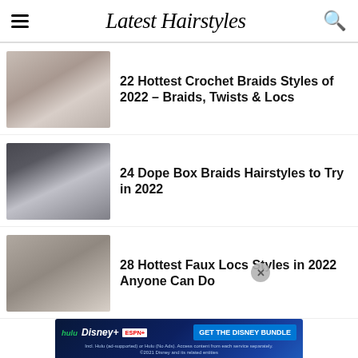Latest Hairstyles
22 Hottest Crochet Braids Styles of 2022 – Braids, Twists & Locs
24 Dope Box Braids Hairstyles to Try in 2022
28 Hottest Faux Locs Styles in 2022 Anyone Can Do
[Figure (infographic): Disney Bundle advertisement banner with Hulu, Disney+, ESPN+ logos and 'GET THE DISNEY BUNDLE' call to action]
30 Hottest Feed In Braids to Try in 2022